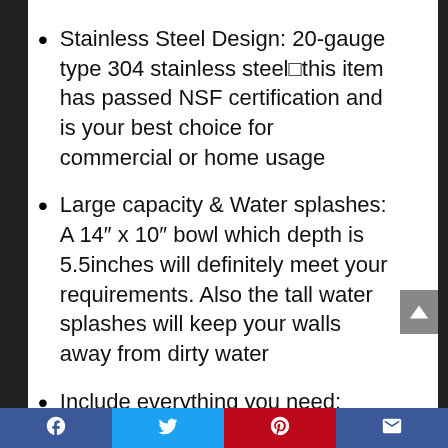Stainless Steel Design: 20-gauge type 304 stainless steel⬜this item has passed NSF certification and is your best choice for commercial or home usage
Large capacity & Water splashes: A 14″ x 10″ bowl which depth is 5.5inches will definitely meet your requirements. Also the tall water splashes will keep your walls away from dirty water
Include everything you need: Includes 8″ gooseneck faucet, 1 1/2″ IPS drain baskets, and